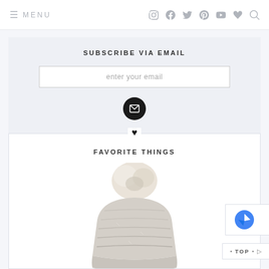≡ MENU  [social icons: Instagram, Facebook, Twitter, Pinterest, YouTube, Heart, Search]
SUBSCRIBE VIA EMAIL
enter your email
FAVORITE THINGS
[Figure (photo): A cream/beige knit winter hat with a large fur pom-pom on top, partially visible at the bottom of the page]